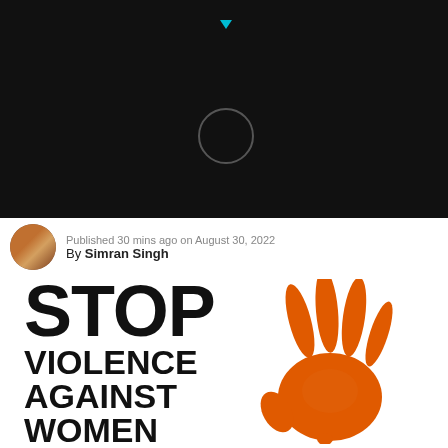[Figure (screenshot): Black background area with a loading spinner circle and a small cyan/teal play button icon at top]
Published 30 mins ago on August 30, 2022
By Simran Singh
[Figure (illustration): Stop Violence Against Women poster: bold black text reading STOP VIOLENCE AGAINST WOMEN on the left, with a large orange handprint on the right]